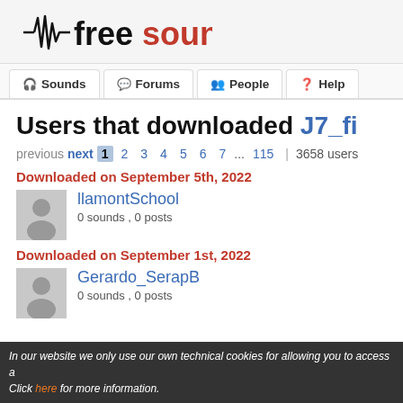[Figure (logo): Freesound logo with sound wave and text 'freesound' where 'free' is black and 'sound' is red]
Sounds | Forums | People | Help
Users that downloaded J7_fi
previous next 1 2 3 4 5 6 7 ... 115 | 3658 users
Downloaded on September 5th, 2022
llamontSchool
0 sounds , 0 posts
Downloaded on September 1st, 2022
Gerardo_SerapB
0 sounds , 0 posts
In our website we only use our own technical cookies for allowing you to access a Click here for more information.